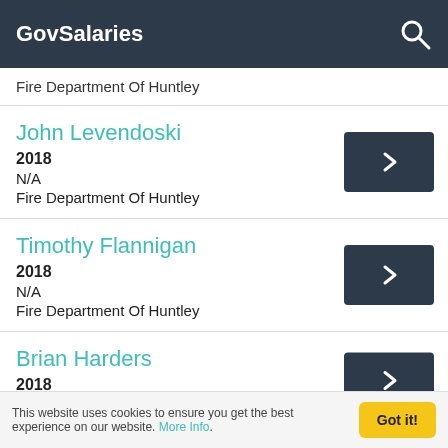GovSalaries
Fire Department Of Huntley
John Levendoski
2018
N/A
Fire Department Of Huntley
Timothy Flannigan
2018
N/A
Fire Department Of Huntley
Brian Harders
2018
This website uses cookies to ensure you get the best experience on our website. More Info.